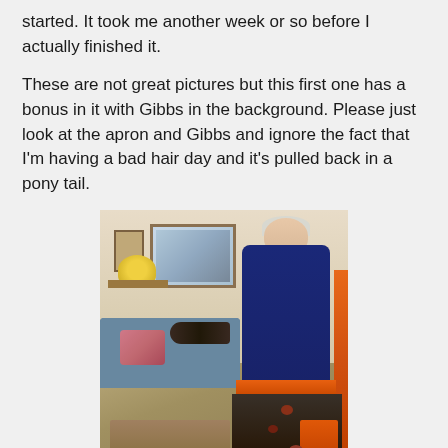started. It took me another week or so before I actually finished it.
These are not great pictures but this first one has a bonus in it with Gibbs in the background. Please just look at the apron and Gibbs and ignore the fact that I'm having a bad hair day and it's pulled back in a pony tail.
[Figure (photo): An elderly woman wearing a navy blue long-sleeve top and a handmade apron with an orange waistband and dark floral skirt with an orange pocket. She is standing in a living room. In the background is a sofa with a dog (Gibbs) lying on it, a coffee table, wall art, a small shelf with flowers, and other home furnishings.]